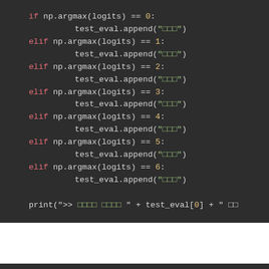Code snippet showing conditional branches: if/elif np.argmax(logits) == 0..6 with test_eval.append() calls, and a print statement with test_eval[0]
#무 무무무무무 / @ 무무 무무